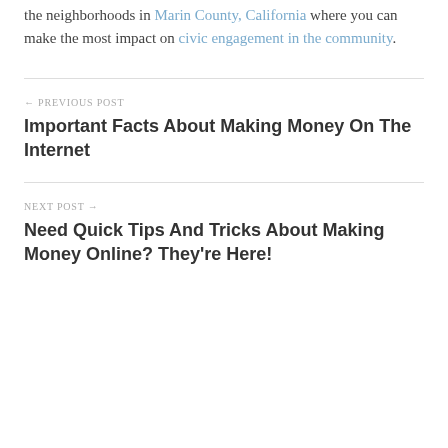the neighborhoods in Marin County, California where you can make the most impact on civic engagement in the community.
← PREVIOUS POST
Important Facts About Making Money On The Internet
NEXT POST →
Need Quick Tips And Tricks About Making Money Online? They're Here!